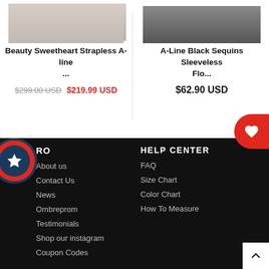[Figure (photo): Partial product image of Beauty Sweetheart Strapless A-line dress (cropped at top)]
Beauty Sweetheart Strapless A-line ...
$299.00 USD  $219.99 USD
[Figure (photo): Partial product image of A-Line Black Sequins Sleeveless Flo... dress (cropped at top)]
A-Line Black Sequins Sleeveless Flo...
$62.90 USD
RO
About us
Contact Us
News
Ombreprom
Testimonials
Shop our instagram
Coupon Codes
HELP CENTER
FAQ
Size Chart
Color Chart
How To Measure